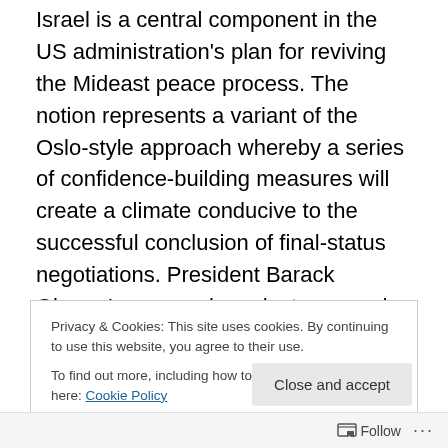Israel is a central component in the US administration's plan for reviving the Mideast peace process. The notion represents a variant of the Oslo-style approach whereby a series of confidence-building measures will create a climate conducive to the successful conclusion of final-status negotiations. President Barack Obama's approach seeks to expand the circle of confidence-building, so that the Arab states, and not only the Palestinians and Israelis, will be drawn into it. According to reports, the US is now in the final stages before the announcement of its new,
Privacy & Cookies: This site uses cookies. By continuing to use this website, you agree to their use.
To find out more, including how to control cookies, see here: Cookie Policy
Close and accept
Follow